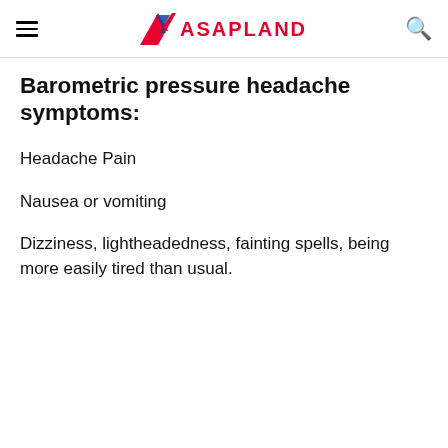ASAPLAND
Barometric pressure headache symptoms:
Headache Pain
Nausea or vomiting
Dizziness, lightheadedness, fainting spells, being more easily tired than usual.